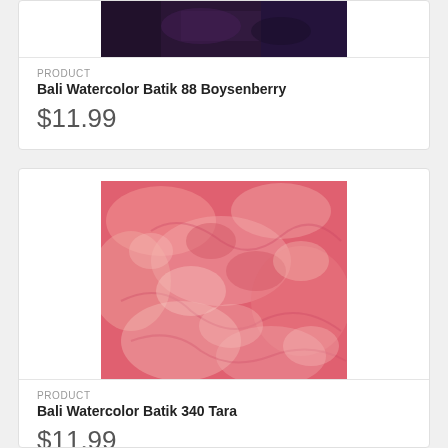[Figure (photo): Partial view of Bali Watercolor Batik 88 Boysenberry fabric swatch (dark purple/boysenberry color) at top of page]
PRODUCT
Bali Watercolor Batik 88 Boysenberry
$11.99
[Figure (photo): Bali Watercolor Batik 340 Tara fabric swatch — coral/salmon pink watercolor batik pattern]
PRODUCT
Bali Watercolor Batik 340 Tara
$11.99